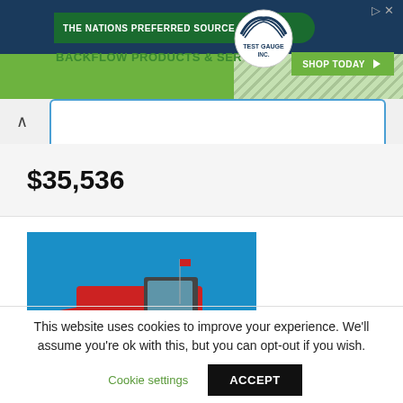[Figure (screenshot): Advertisement banner for Test Gauge Inc. - The Nations Preferred Source for Backflow Products & Services. Green background with diagonal stripes and 'Shop Today' button.]
$35,536
[Figure (photo): Red Massey Ferguson tractor with front loader in an outdoor lot, blue sky background, other farm equipment visible in background.]
This website uses cookies to improve your experience. We'll assume you're ok with this, but you can opt-out if you wish.
Cookie settings
ACCEPT